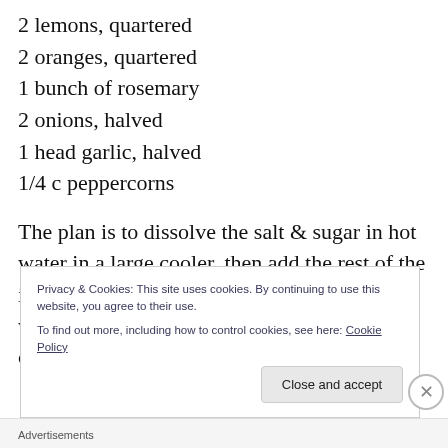2 lemons, quartered
2 oranges, quartered
1 bunch of rosemary
2 onions, halved
1 head garlic, halved
1/4 c peppercorns
The plan is to dissolve the salt & sugar in hot water in a large cooler, then add the rest of the ingredients. Top that off with enough cold water to cover the turkey and leave the whole concoction alone for a solid 24 hours, maybe
Privacy & Cookies: This site uses cookies. By continuing to use this website, you agree to their use.
To find out more, including how to control cookies, see here: Cookie Policy
Advertisements